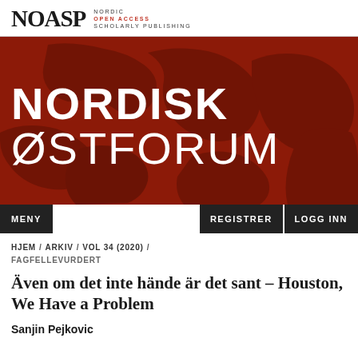NOASP NORDIC OPEN ACCESS SCHOLARLY PUBLISHING
[Figure (illustration): Red hero banner with faint world map silhouette showing 'NORDISK' in bold white and 'ØSTFORUM' in light white below]
MENY    REGISTRER    LOGG INN
HJEM / ARKIV / VOL 34 (2020) / FAGFELLEVURDERT
Även om det inte hände är det sant – Houston, We Have a Problem
Sanjin Pejkovic